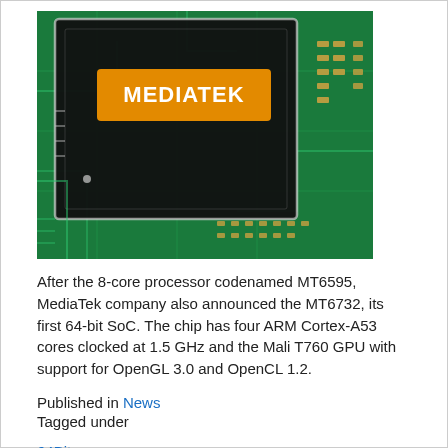[Figure (photo): Close-up photo of a MediaTek chip (labeled MT6595/MT6732 era) on a green circuit board. The chip has a black surface with an orange rectangular label reading MEDIATEK in white text.]
After the 8-core processor codenamed MT6595, MediaTek company also announced the MT6732, its first 64-bit SoC. The chip has four ARM Cortex-A53 cores clocked at 1.5 GHz and the Mali T760 GPU with support for OpenGL 3.0 and OpenCL 1.2.
Published in News
Tagged under
64Bit
SoC
Mediatek